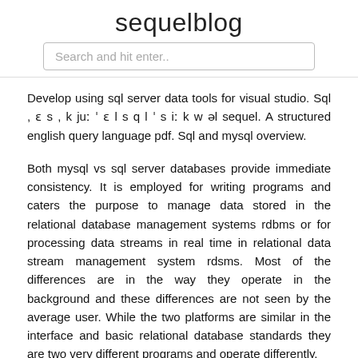sequelblog
Search and hit enter..
Develop using sql server data tools for visual studio. Sql , ɛ s , k juː ˈ ɛ l s q l ˈ s iː k w əl sequel. A structured english query language pdf. Sql and mysql overview.
Both mysql vs sql server databases provide immediate consistency. It is employed for writing programs and caters the purpose to manage data stored in the relational database management systems rdbms or for processing data streams in real time in relational data stream management system rdsms. Most of the differences are in the way they operate in the background and these differences are not seen by the average user. While the two platforms are similar in the interface and basic relational database standards they are two very different programs and operate differently.
Sql is pronounced sequel by many and there is some